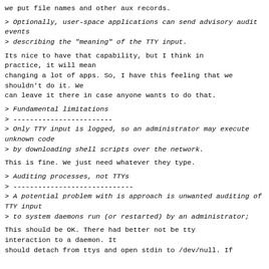we put file names and other aux records.
> Optionally, user-space applications can send advisory audit events
> describing the "meaning" of the TTY input.
Its nice to have that capability, but I think in practice, it will mean
changing a lot of apps. So, I have this feeling that we shouldn't do it. We
can leave it there in case anyone wants to do that.
> Fundamental limitations
> ------------------------
> Only TTY input is logged, so an administrator may execute unknown code
> by downloading shell scripts over the network.
This is fine. We just need whatever they type.
> Auditing processes, not TTYs
> -----------------------------
> A potential problem with is approach is unwanted auditing of TTY input
> to system daemons run (or restarted) by an administrator;
This should be OK. There had better not be tty interaction to a daemon. It
should detach from ttys and open stdin to /dev/null. If